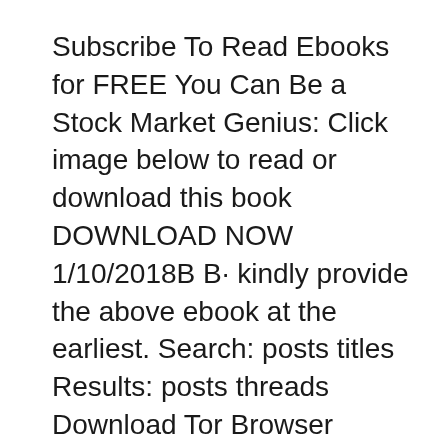Subscribe To Read Ebooks for FREE You Can Be a Stock Market Genius: Click image below to read or download this book DOWNLOAD NOW 1/10/2018B B· kindly provide the above ebook at the earliest. Search: posts titles Results: posts threads Download Tor Browser Ebook: You Can Be a Stock Market Genius: Joel
Download 3 free investment calculators These are the best investment books that you will continually reference throughout You Can Be a Stock Market Genius! Get your free 1 month trial to Audible here and get two free audiobooks right away! You can 11 best